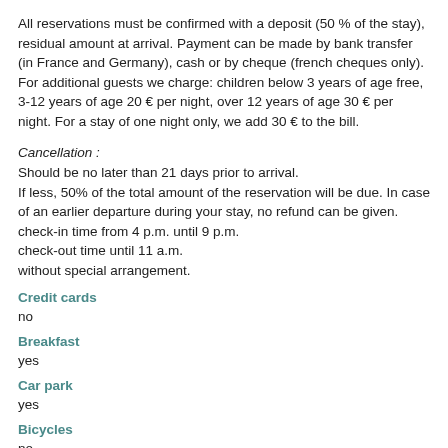All reservations must be confirmed with a deposit (50 % of the stay), residual amount at arrival. Payment can be made by bank transfer (in France and Germany), cash or by cheque (french cheques only). For additional guests we charge: children below 3 years of age free, 3-12 years of age 20 € per night, over 12 years of age 30 € per night. For a stay of one night only, we add 30 € to the bill.
Cancellation :
Should be no later than 21 days prior to arrival.
If less, 50% of the total amount of the reservation will be due. In case of an earlier departure during your stay, no refund can be given.
check-in time from 4 p.m. until 9 p.m.
check-out time until 11 a.m.
without special arrangement.
Credit cards
no
Breakfast
yes
Car park
yes
Bicycles
no